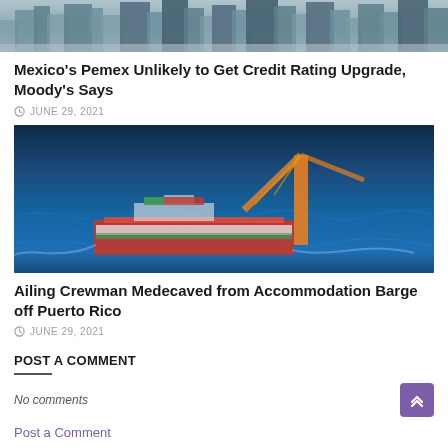[Figure (photo): City skyline with skyscrapers in background, grey-blue tones]
Mexico's Pemex Unlikely to Get Credit Rating Upgrade, Moody's Says
JUNE 29, 2021
[Figure (photo): Accommodation barge with crane/derrick on open blue ocean water, aerial or side view]
Ailing Crewman Medecaved from Accommodation Barge off Puerto Rico
JUNE 29, 2021
POST A COMMENT
No comments
Post a Comment